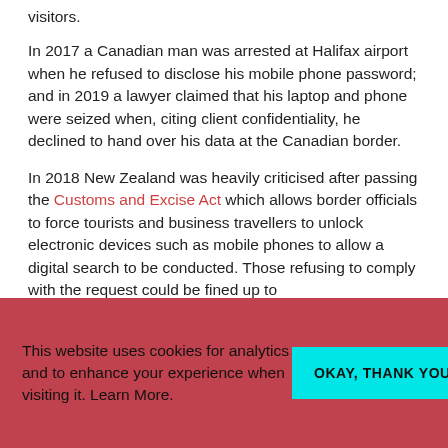visitors.
In 2017 a Canadian man was arrested at Halifax airport when he refused to disclose his mobile phone password; and in 2019 a lawyer claimed that his laptop and phone were seized when, citing client confidentiality, he declined to hand over his data at the Canadian border.
In 2018 New Zealand was heavily criticised after passing the Customs and Excise Act which allows border officials to force tourists and business travellers to unlock electronic devices such as mobile phones to allow a digital search to be conducted. Those refusing to comply with the request could be fined up to
This website uses cookies for analytics and to enhance your experience when visiting it. Learn More.
OKAY, THANK YOU